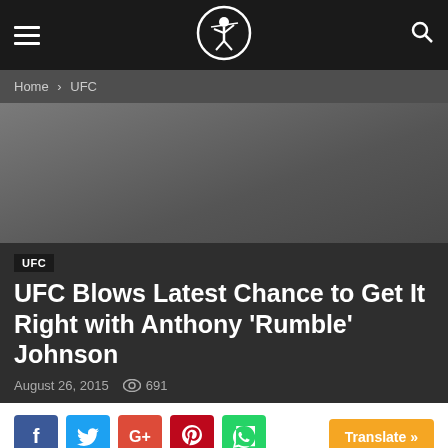UFC — [site logo] — [search icon]
Home › UFC
[Figure (photo): Dark gray hero image background area with a UFC category tag label overlay]
UFC Blows Latest Chance to Get It Right with Anthony 'Rumble' Johnson
August 26, 2015   691
[Figure (infographic): Social share bar with Facebook, Twitter, Google+, Pinterest, WhatsApp buttons and a Translate button]